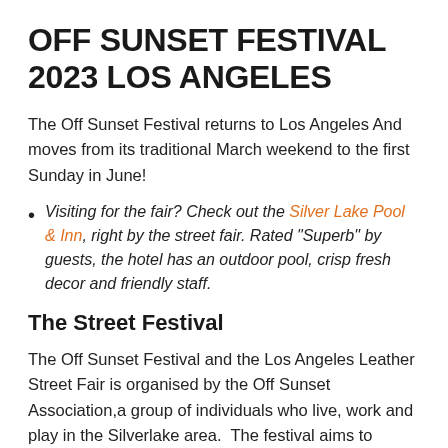OFF SUNSET FESTIVAL 2023 LOS ANGELES
The Off Sunset Festival returns to Los Angeles And moves from its traditional March weekend to the first Sunday in June!
Visiting for the fair? Check out the Silver Lake Pool & Inn, right by the street fair. Rated “Superb” by guests, the hotel has an outdoor pool, crisp fresh decor and friendly staff.
The Street Festival
The Off Sunset Festival and the Los Angeles Leather Street Fair is organised by the Off Sunset Association,a group of individuals who live, work and play in the Silverlake area.  The festival aims to support beautification, art and youth programs with